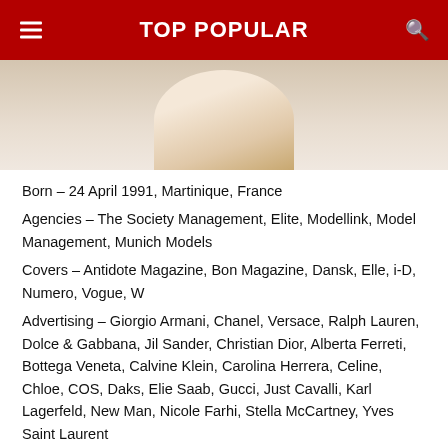TOP POPULAR
[Figure (photo): Partial photo of a blonde model or celebrity, showing face/hair cropped at the top]
Born – 24 April 1991, Martinique, France
Agencies – The Society Management, Elite, Modellink, Model Management, Munich Models
Covers – Antidote Magazine, Bon Magazine, Dansk, Elle, i-D, Numero, Vogue, W
Advertising – Giorgio Armani, Chanel, Versace, Ralph Lauren, Dolce & Gabbana, Jil Sander, Christian Dior, Alberta Ferreti, Bottega Veneta, Calvine Klein, Carolina Herrera, Celine, Chloe, COS, Daks, Elie Saab, Gucci, Just Cavalli, Karl Lagerfeld, New Man, Nicole Farhi, Stella McCartney, Yves Saint Laurent